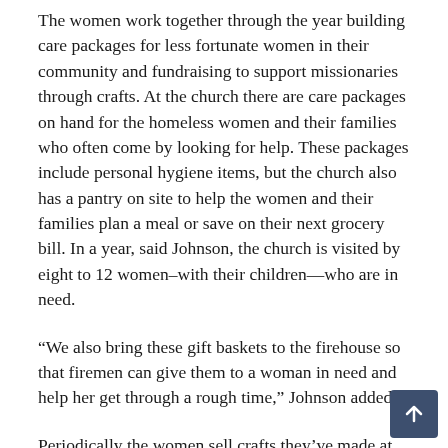The women work together through the year building care packages for less fortunate women in their community and fundraising to support missionaries through crafts. At the church there are care packages on hand for the homeless women and their families who often come by looking for help. These packages include personal hygiene items, but the church also has a pantry on site to help the women and their families plan a meal or save on their next grocery bill. In a year, said Johnson, the church is visited by eight to 12 women–with their children—who are in need.
“We also bring these gift baskets to the firehouse so that firemen can give them to a woman in need and help her get through a rough time,” Johnson added.
Periodically the women sell crafts they’ve made at craft bazaars. “We let the people know that their